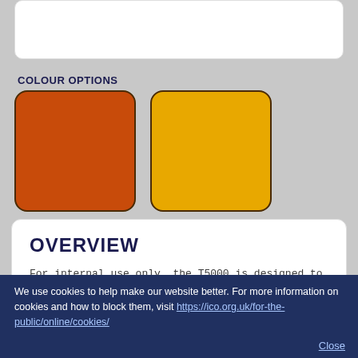COLOUR OPTIONS
[Figure (illustration): Two colour swatches: a burnt orange/red swatch on the left and an amber/golden yellow swatch on the right, both with rounded corners]
OVERVIEW
For internal use only, the T5000 is designed to attain a high level of noise reduction up to 23.9 dB.
Thermoset Composite GRP Moulding manufactured using a certified RTM system to BS476 Part 7 Class II surface spread of flame
Inside the hood's outer shell is a perforated
We use cookies to help make our website better. For more information on cookies and how to block them, visit https://ico.org.uk/for-the-public/online/cookies/